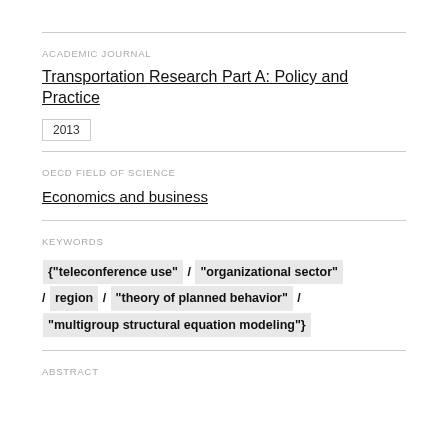ACADEMIC JOURNAL
Transportation Research Part A: Policy and Practice
2013
OECD FIELD OF SCIENCE
Economics and business
KEYWORDS
{"teleconference use" / "organizational sector" / region / "theory of planned behavior" / "multigroup structural equation modeling"}
ABSTRACT